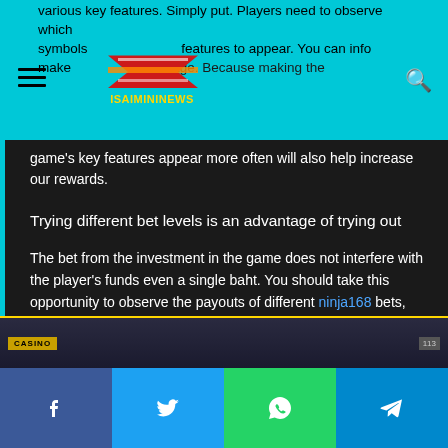isaimininews - website header with logo, hamburger menu, and search icon
various key features. Simply put. Players need to observe which symbols or features to appear. You can info make an alteration of the percentage. Because making the game's key features appear more often will also help increase our rewards.
Trying different bet levels is an advantage of trying out
The bet from the investment in the game does not interfere with the player's funds even a single baht. You should take this opportunity to observe the payouts of different ninja168 bets, starting with the smallest and then moving up. Or may start from moving down a little this will help in terms of using bets when playing in the real field.
[Figure (screenshot): Partially visible game screenshot at bottom of content area]
Social share buttons: Facebook, Twitter, WhatsApp, Telegram